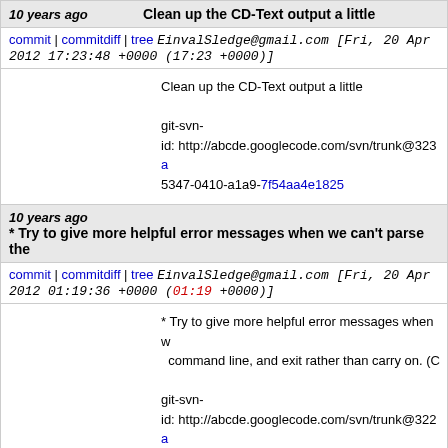10 years ago   Clean up the CD-Text output a little
commit | commitdiff | tree   EinvalSledge@gmail.com [Fri, 20 Apr 2012 17:23:48 +0000 (17:23 +0000)]
Clean up the CD-Text output a little

git-svn-id: http://abcde.googlecode.com/svn/trunk@323 a5347-0410-a1a9-7f54aa4e1825
10 years ago   * Try to give more helpful error messages when we can't parse the
commit | commitdiff | tree   EinvalSledge@gmail.com [Fri, 20 Apr 2012 01:19:36 +0000 (01:19 +0000)]
* Try to give more helpful error messages when we can't parse the command line, and exit rather than carry on. (C

git-svn-id: http://abcde.googlecode.com/svn/trunk@322 a5347-0410-a1a9-7f54aa4e1825
10 years ago   * If we don't find any CDDB or Musicbrainz information for the CD, try
commit | commitdiff | tree   EinvalSledge@gmail.com [Fri, 20 Apr 2012 01:07:51 +0000 (01:07 +0000)]